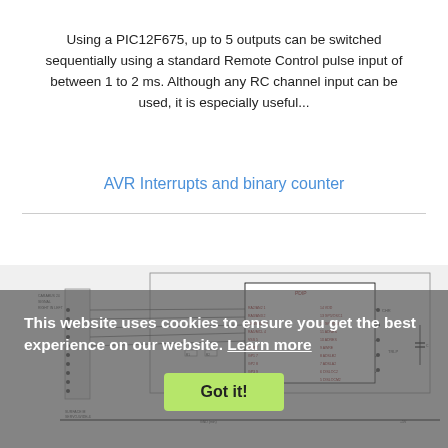Using a PIC12F675, up to 5 outputs can be switched sequentially using a standard Remote Control pulse input of between 1 to 2 ms. Although any RC channel input can be used, it is especially useful...
AVR Interrupts and binary counter
[Figure (schematic): Circuit schematic diagram showing a microcontroller (PIC or AVR) with connections to various components including a connector and other peripherals. Labels include pin connections and component values.]
This website uses cookies to ensure you get the best experience on our website. Learn more
Got it!